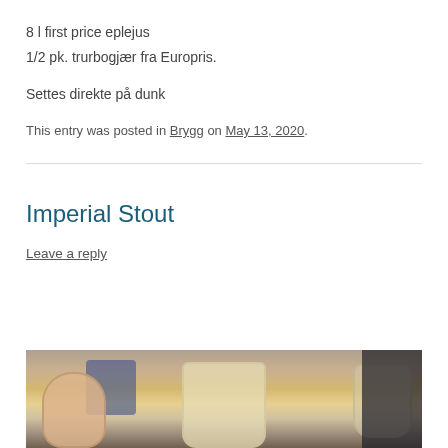8 l first price eplejus
1/2 pk. trurbogjær fra Europris.
Settes direkte på dunk
This entry was posted in Brygg on May 13, 2020.
Imperial Stout
Leave a reply
[Figure (photo): Photo of beer glasses on a table outdoors, showing a pink/orange drink on the left, a large glass of light beer in the center, and another glass on the right, with a person in a dark jacket in the background]